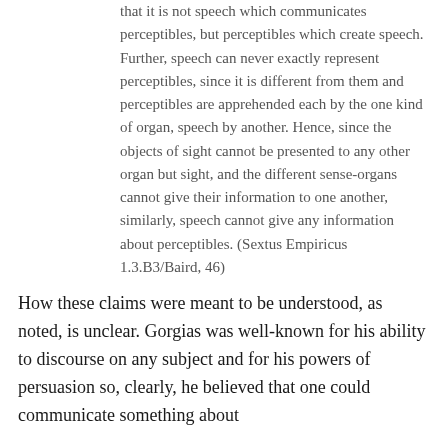that it is not speech which communicates perceptibles, but perceptibles which create speech. Further, speech can never exactly represent perceptibles, since it is different from them and perceptibles are apprehended each by the one kind of organ, speech by another. Hence, since the objects of sight cannot be presented to any other organ but sight, and the different sense-organs cannot give their information to one another, similarly, speech cannot give any information about perceptibles. (Sextus Empiricus 1.3.B3/Baird, 46)
How these claims were meant to be understood, as noted, is unclear. Gorgias was well-known for his ability to discourse on any subject and for his powers of persuasion so, clearly, he believed that one could communicate something about